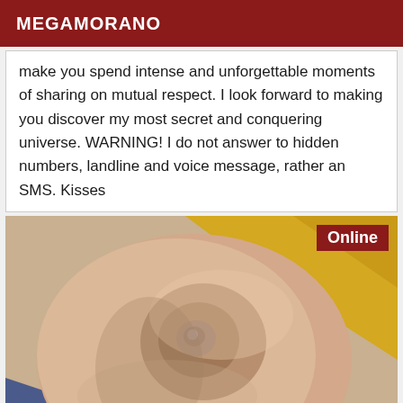MEGAMORANO
make you spend intense and unforgettable moments of sharing on mutual respect. I look forward to making you discover my most secret and conquering universe. WARNING! I do not answer to hidden numbers, landline and voice message, rather an SMS. Kisses
[Figure (photo): Close-up photo of skin/body with Online badge overlay in dark red]